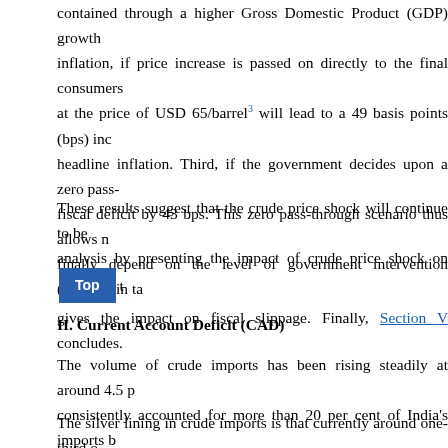contained through a higher Gross Domestic Product (GDP) growth inflation, if price increase is passed on directly to the final consumers at the price of USD 65/barrel³ will lead to a 49 basis points (bps) increase in headline inflation. Third, if the government decides upon a zero pass-through, fiscal deficit by 43 bps. This zero pass-through scenario thus allows finally depend on the level of government intervention (changes in ta
These results suggest that the crude price shock will continue to be analysis by presenting the impact of crude price shock on [Top] gives the impact on fiscal slippage. Finally, Section V concludes.
II. Current Account Deficit (CAD)
The volume of crude imports has been rising steadily at around 4.5 per cent, consistently accounted for more than 20 per cent of India's imports b
The silver lining in crude imports is that currently around one-third of through of raw crude prices into re-exports as the demand for these equation on account of oil: